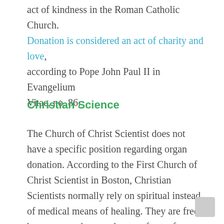act of kindness in the Roman Catholic Church. Donation is considered an act of charity and love, according to Pope John Paul II in Evangelium Vitae, no. 86.
Christian Science
The Church of Christ Scientist does not have a specific position regarding organ donation. According to the First Church of Christ Scientist in Boston, Christian Scientists normally rely on spiritual instead of medical means of healing. They are free, however, to choose whatever form of medical treatment they desire – including a transplant. The question of organ and tissue donation is an individual decision.